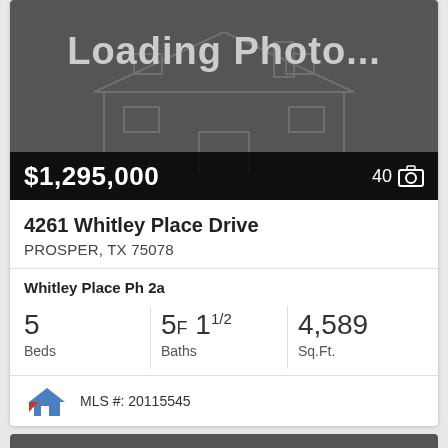[Figure (photo): Loading Photo placeholder with house outline silhouette on dark gray background]
$1,295,000
40 📷
4261 Whitley Place Drive
PROSPER, TX 75078
Whitley Place Ph 2a
| Beds | Baths | Sq.Ft. |
| --- | --- | --- |
| 5 | 5F 1½ | 4,589 |
MLS #: 20115545
[Figure (photo): Second property photo placeholder with house outline silhouette, dark gray background, heart icon in top right]